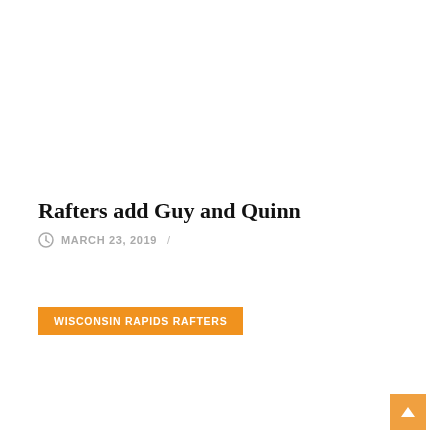Rafters add Guy and Quinn
MARCH 23, 2019  /
WISCONSIN RAPIDS RAFTERS